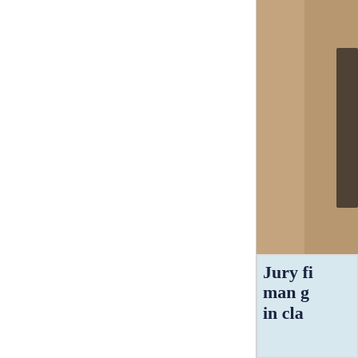[Figure (photo): A partial photograph of a person in a hallway or corridor, cropped at the right edge of the page.]
Bar Disciplinary O... was Bribed by Joh...
Ms. O'Dell, and he... for pick ups and d... Ms. O'Dell and Ma...
Attorney Lin O'De... convicted killer, a...
[Figure (photo): Newspaper clipping headline reading 'Jury fi... man g... in cla...']